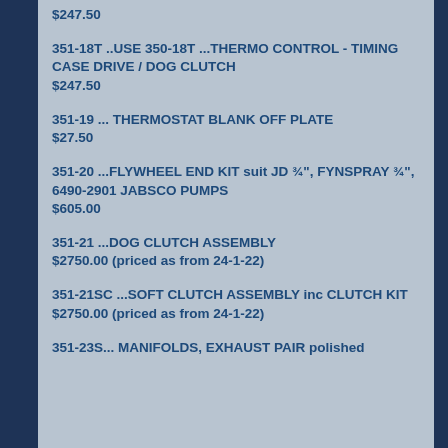$247.50
351-18T ..USE 350-18T ...THERMO CONTROL - TIMING CASE DRIVE / DOG CLUTCH
$247.50
351-19 ... THERMOSTAT BLANK OFF PLATE
$27.50
351-20 ...FLYWHEEL END KIT suit JD ¾", FYNSPRAY ¾", 6490-2901 JABSCO PUMPS
$605.00
351-21 ...DOG CLUTCH ASSEMBLY
$2750.00 (priced as from 24-1-22)
351-21SC ...SOFT CLUTCH ASSEMBLY inc CLUTCH KIT
$2750.00 (priced as from 24-1-22)
351-23S... MANIFOLDS, EXHAUST PAIR polished